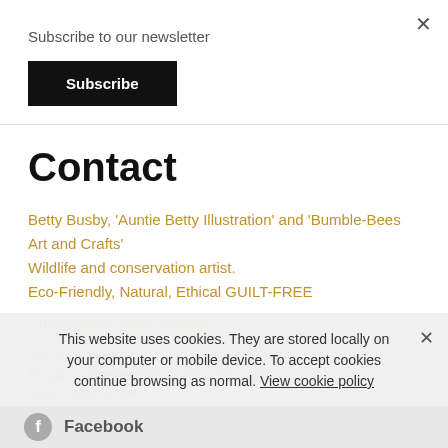Subscribe to our newsletter
Subscribe
Contact
Betty Busby, 'Auntie Betty Illustration' and 'Bumble-Bees Art and Crafts'
Wildlife and conservation artist.
Eco-Friendly, Natural, Ethical GUILT-FREE
Christchurch, New Zealand
Tel: 022 100 3605
Email: auntiebettyillustration@gmail.com or queries@bumble-beesartandcrafts.com
This website uses cookies. They are stored locally on your computer or mobile device. To accept cookies continue browsing as normal. View cookie policy
Facebook